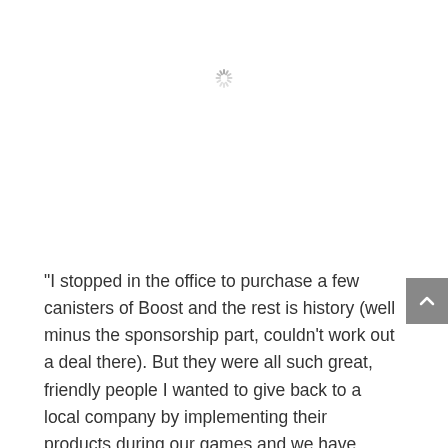[Figure (other): Loading spinner icon (asterisk/sun shape) in light gray]
“I stopped in the office to purchase a few canisters of Boost and the rest is history (well minus the sponsorship part, couldn’t work out a deal there). But they were all such great, friendly people I wanted to give back to a local company by implementing their products during our games and we have been hooked since! I personally love what Boost does for my stamina, mental focus and recovery between shifts on